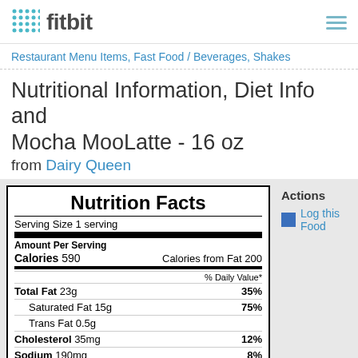fitbit
Restaurant Menu Items, Fast Food / Beverages, Shakes
Nutritional Information, Diet Info and Calories - Mocha MooLatte - 16 oz from Dairy Queen
| Nutrition Facts |
| --- |
| Serving Size 1 serving |
| Amount Per Serving |
| Calories 590 | Calories from Fat 200 |
| % Daily Value* |
| Total Fat 23g | 35% |
| Saturated Fat 15g | 75% |
| Trans Fat 0.5g |  |
| Cholesterol 35mg | 12% |
| Sodium 190mg | 8% |
| Potassium 0mg | 0% |